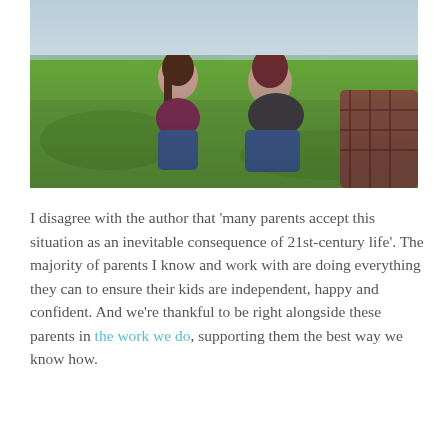[Figure (photo): A young smiling girl with long brown hair wearing a maroon shirt sits on green grass alongside two adults, one wearing a black vest and the other a plaid shirt. They appear to be outdoors near water.]
I disagree with the author that 'many parents accept this situation as an inevitable consequence of 21st-century life'. The majority of parents I know and work with are doing everything they can to ensure their kids are independent, happy and confident. And we're thankful to be right alongside these parents in the work we do, supporting them the best way we know how.